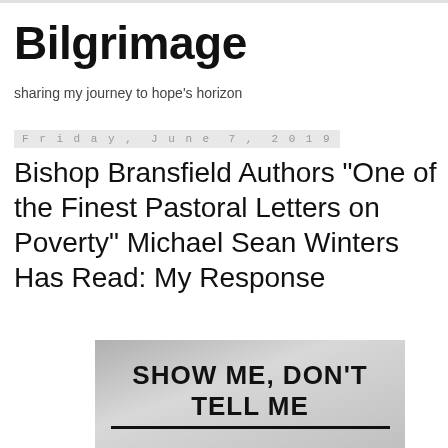Bilgrimage
sharing my journey to hope's horizon
Friday, June 7, 2019
Bishop Bransfield Authors "One of the Finest Pastoral Letters on Poverty" Michael Sean Winters Has Read: My Response
[Figure (photo): Black and white photo of a sign reading SHOW ME, DON'T TELL ME with an underline beneath the text]